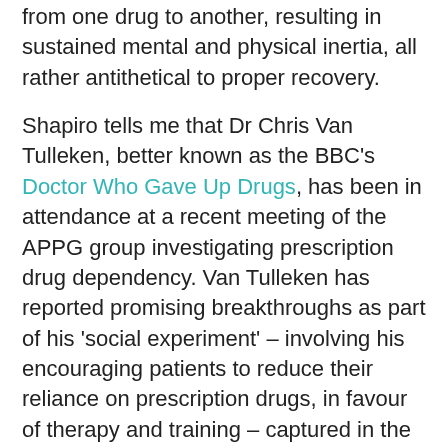from one drug to another, resulting in sustained mental and physical inertia, all rather antithetical to proper recovery.
Shapiro tells me that Dr Chris Van Tulleken, better known as the BBC's Doctor Who Gave Up Drugs, has been in attendance at a recent meeting of the APPG group investigating prescription drug dependency. Van Tulleken has reported promising breakthroughs as part of his 'social experiment' – involving his encouraging patients to reduce their reliance on prescription drugs, in favour of therapy and training – captured in the recent BBC documentary series, I